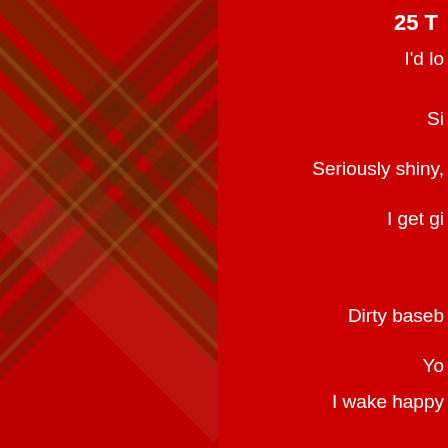[Figure (photo): Red and green tartan plaid pattern, blurred diagonal crossing bands of red and green on dark red background, left half of the page]
25 T
I'd lo
Si
Seriously shiny,
I get gi
Dirty baseb
Yo
I wake happy